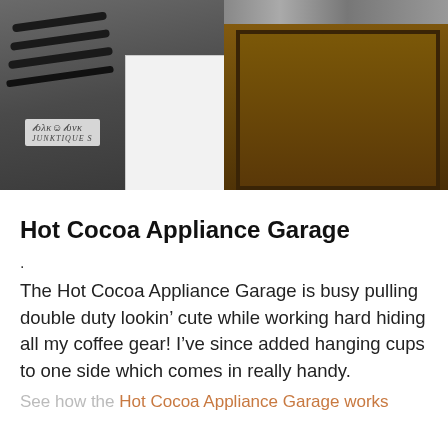[Figure (photo): Kitchen scene showing a stove/range with black grates on the left, a white appliance in the middle, and a dark wood cabinet with granite countertop on the right. A watermark reading 'Folk Junk' is visible in the lower left of the image.]
Hot Cocoa Appliance Garage
.
The Hot Cocoa Appliance Garage is busy pulling double duty lookin’ cute while working hard hiding all my coffee gear! I’ve since added hanging cups to one side which comes in really handy.
See how the Hot Cocoa Appliance Garage works